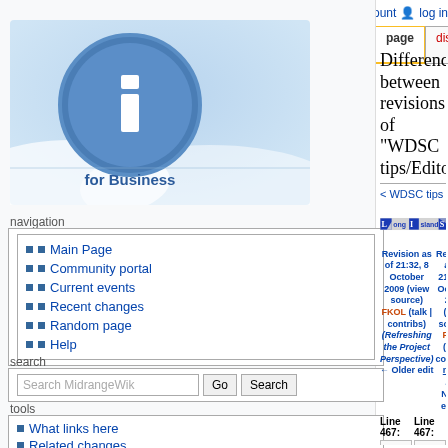create account  log in
page | discussion | view source | history
[Figure (logo): i for Business circular blue logo with white letter i]
Difference between revisions of "WDSC tips/Editor"
< WDSC tips
[Figure (logo): Long Island System banner logo in blue and white]
Revision as of 21:32, 8 October 2009 (view source)
FKOL (talk | contribs)
(Refreshing the Project Perspective)
← Older edit
Revision as of 21:38, 8 October 2009 (view source)
FKOL (talk | contribs)
m (fix link)
Newer edit →
navigation
Main Page
Community portal
Current events
Recent changes
Random page
Help
search
tools
What links here
Related changes
Special pages
Line 467:
Line 467:
=== Refreshing the Project Perspective
=== Refreshing the Project Perspective